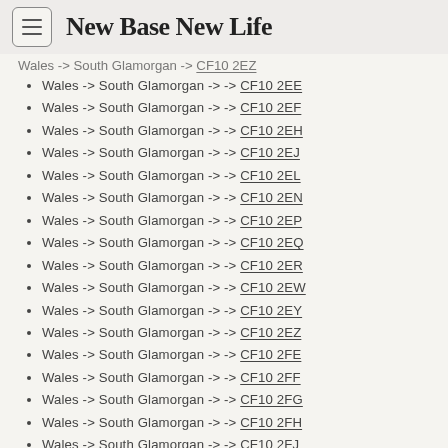New Base New Life
Wales -> South Glamorgan -> -> CF10 2EE
Wales -> South Glamorgan -> -> CF10 2EF
Wales -> South Glamorgan -> -> CF10 2EH
Wales -> South Glamorgan -> -> CF10 2EJ
Wales -> South Glamorgan -> -> CF10 2EL
Wales -> South Glamorgan -> -> CF10 2EN
Wales -> South Glamorgan -> -> CF10 2EP
Wales -> South Glamorgan -> -> CF10 2EQ
Wales -> South Glamorgan -> -> CF10 2ER
Wales -> South Glamorgan -> -> CF10 2EW
Wales -> South Glamorgan -> -> CF10 2EY
Wales -> South Glamorgan -> -> CF10 2EZ
Wales -> South Glamorgan -> -> CF10 2FE
Wales -> South Glamorgan -> -> CF10 2FF
Wales -> South Glamorgan -> -> CF10 2FG
Wales -> South Glamorgan -> -> CF10 2FH
Wales -> South Glamorgan -> -> CF10 2FJ
Wales -> South Glamorgan -> -> CF10 2FL